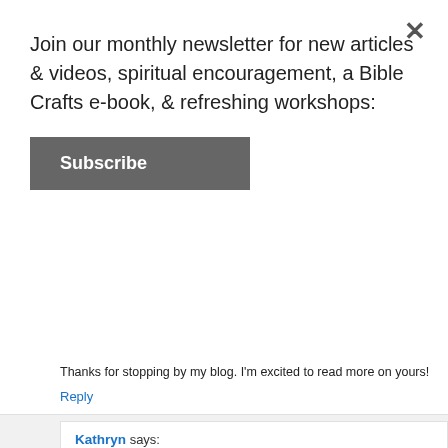Join our monthly newsletter for new articles & videos, spiritual encouragement, a Bible Crafts e-book, & refreshing workshops:
Subscribe
Thanks for stopping by my blog. I'm excited to read more on yours!
Reply
Kathryn says: January 22, 2011 at 9:47 am
Oh boy, great post. What a great encouragement and inspiration to me too. I needed to be reminded that all the little distractions are not detours but precisely needed to be done at that moment. I love the idea of writing down priorities too. Thank you!
Reply
All Things Beautiful says: January 22, 2011 at 10:06 am
I have an award for you over at my blog.
http://homeschooljournal-bergblog.blogspot.com/2011/01/blog-awards-from-child-d...